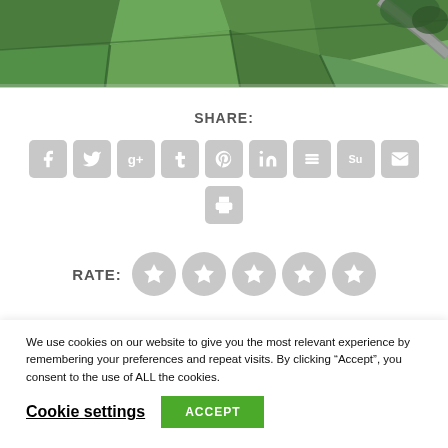[Figure (photo): Aerial satellite view of green fields divided by hedgerows and a winding road]
SHARE:
[Figure (infographic): Social sharing buttons: Facebook, Twitter, Google+, Tumblr, Pinterest, LinkedIn, Buffer, StumbleUpon, Email, Print]
RATE:
[Figure (infographic): Five grey star rating circles]
We use cookies on our website to give you the most relevant experience by remembering your preferences and repeat visits. By clicking “Accept”, you consent to the use of ALL the cookies.
Cookie settings
ACCEPT